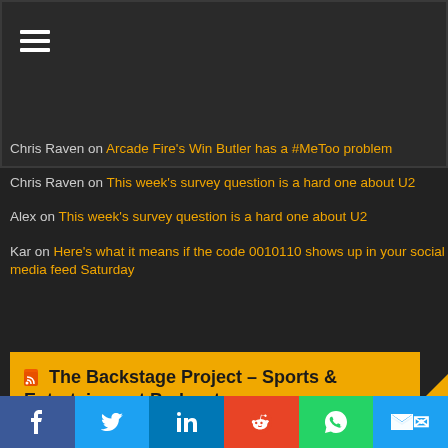☰ (hamburger menu icon)
Chris Raven on Arcade Fire's Win Butler has a #MeToo problem
Chris Raven on This week's survey question is a hard one about U2
Alex on This week's survey question is a hard one about U2
Kar on Here's what it means if the code 0010110 shows up in your social media feed Saturday
The Backstage Project – Sports & Entertainment Podcast
f  🐦  in  reddit  WhatsApp  ✉